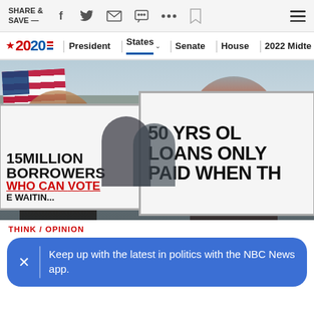SHARE & SAVE —
[Figure (screenshot): NBC News 2020 election navigation bar with links: President, States, Senate, House, 2022 Midterms]
[Figure (photo): Protest crowd with people holding signs reading '45 MILLION BORROWERS WHO CAN VOTE WE WAITING' and '50 YRS OLD LOANS ONLY PAID WHEN TH...' at a student loan forgiveness rally]
THINK / OPINION
Keep up with the latest in politics with the NBC News app.